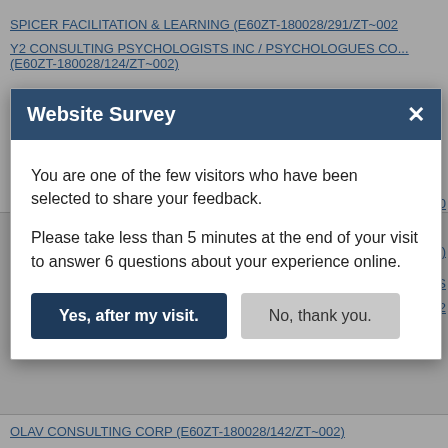SPICER FACILITATION & LEARNING (E60ZT-180028/291/ZT~002)
Y2 CONSULTING PSYCHOLOGISTS INC / PSYCHOLOGUES CO... (E60ZT-180028/124/ZT~002)
TURNER & TOWNSEND CM2R INC (E60ZT-180028/123/ZT~002)
GHD (E60ZT-180028/045/ZT~002)
ALEX B GILLIS (E60ZT-180028/296/ZT~002)
[Figure (screenshot): Website Survey modal dialog with dark blue header, close button (x), body text asking user to participate in a survey, and two buttons: 'Yes, after my visit.' (dark blue) and 'No, thank you.' (gray)]
OLAV CONSULTING CORP (E60ZT-180028/142/ZT~002)